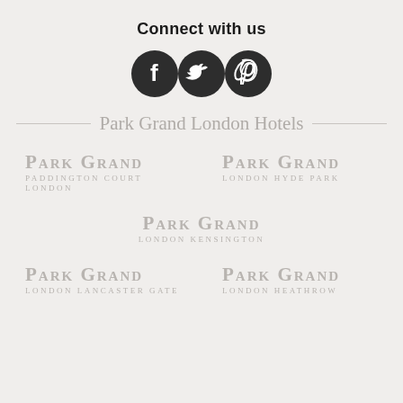Connect with us
[Figure (infographic): Three social media icons: Facebook, Twitter, Pinterest — dark circular buttons with white logos]
Park Grand London Hotels
[Figure (logo): Park Grand Paddington Court London logo in grey small-caps text]
[Figure (logo): Park Grand London Hyde Park logo in grey small-caps text]
[Figure (logo): Park Grand London Kensington logo in grey small-caps text, centered]
[Figure (logo): Park Grand London Lancaster Gate logo in grey small-caps text]
[Figure (logo): Park Grand London Heathrow logo in grey small-caps text]